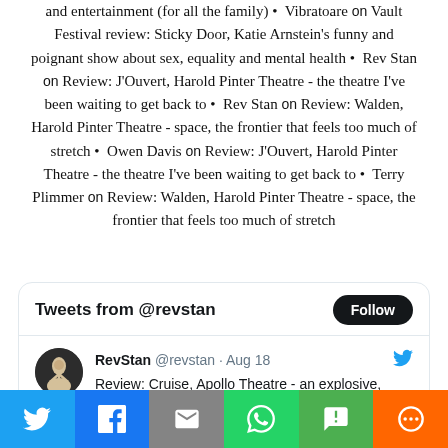and entertainment (for all the family) • Vibratoare on Vault Festival review: Sticky Door, Katie Arnstein's funny and poignant show about sex, equality and mental health • Rev Stan on Review: J'Ouvert, Harold Pinter Theatre - the theatre I've been waiting to get back to • Rev Stan on Review: Walden, Harold Pinter Theatre - space, the frontier that feels too much of stretch • Owen Davis on Review: J'Ouvert, Harold Pinter Theatre - the theatre I've been waiting to get back to • Terry Plimmer on Review: Walden, Harold Pinter Theatre - space, the frontier that feels too much of stretch
[Figure (screenshot): Twitter widget showing @revstan tweets with Follow button and a tweet from RevStan dated Aug 18 about Review: Cruise, Apollo Theatre - an explosive, energetic delight]
[Figure (infographic): Social media share bar with Twitter, Facebook, Email, WhatsApp, SMS, and More buttons]